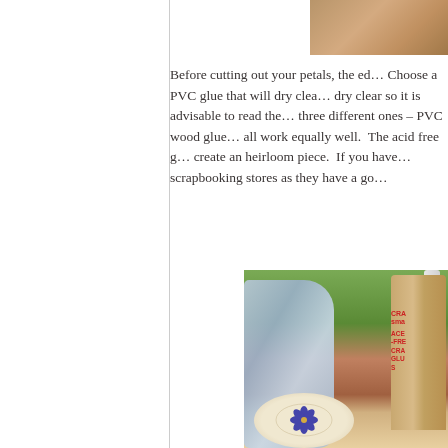[Figure (photo): Partial photo at top right, cropped, showing a textured brownish surface (possibly a craft material or wood).]
Before cutting out your petals, the ed… Choose a PVC glue that will dry clea… dry clear so it is advisable to read the… three different ones – PVC wood glue… all work equally well.  The acid free g… create an heirloom piece.  If you have… scrapbooking stores as they have a go…
[Figure (photo): Photo showing a blue-grey cloth/fabric draped in background, with terracotta pot, and a bottle of acid-free craft glue (CRA… sma… ACE -FRE CRA GLU) and a decorative plate or tile with a blue floral design at bottom.]